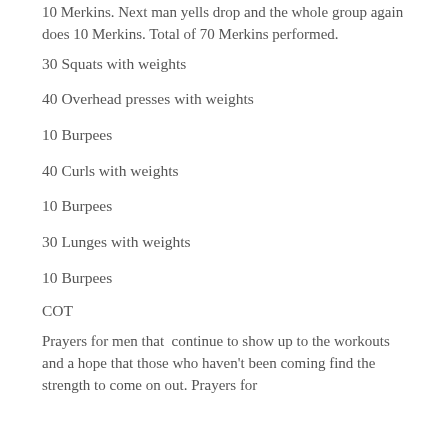10 Merkins. Next man yells drop and the whole group again does 10 Merkins. Total of 70 Merkins performed.
30 Squats with weights
40 Overhead presses with weights
10 Burpees
40 Curls with weights
10 Burpees
30 Lunges with weights
10 Burpees
COT
Prayers for men that  continue to show up to the workouts and a hope that those who haven't been coming find the strength to come on out. Prayers for